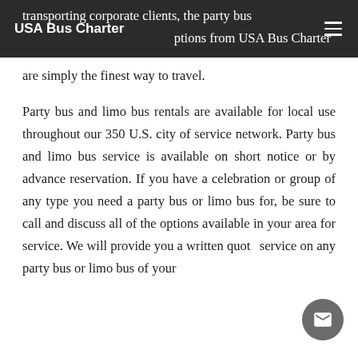USA Bus Charter
transporting corporate clients, the party bus and limo bus options from USA Bus Charter are simply the finest way to travel.
Party bus and limo bus rentals are available for local use throughout our 350 U.S. city of service network. Party bus and limo bus service is available on short notice or by advance reservation. If you have a celebration or group of any type you need a party bus or limo bus for, be sure to call and discuss all of the options available in your area for service. We will provide you a written quote service on any party bus or limo bus of your